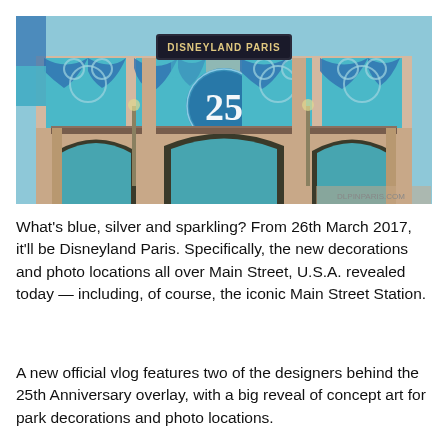[Figure (photo): Disneyland Paris Main Street Station decorated with blue and teal drapes and a large '25' anniversary emblem in a blue circle, featuring Mickey Mouse silhouettes on the facade.]
What's blue, silver and sparkling? From 26th March 2017, it'll be Disneyland Paris. Specifically, the new decorations and photo locations all over Main Street, U.S.A. revealed today — including, of course, the iconic Main Street Station.
A new official vlog features two of the designers behind the 25th Anniversary overlay, with a big reveal of concept art for park decorations and photo locations.